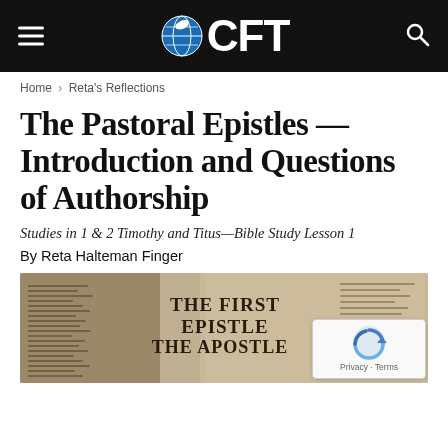CFT
Home › Reta's Reflections
The Pastoral Epistles — Introduction and Questions of Authorship
Studies in 1 & 2 Timothy and Titus—Bible Study Lesson 1
By Reta Halteman Finger
[Figure (photo): Close-up photograph of Bible text showing 'THE FIRST EPISTLE THE APOSTLE' in large print, with smaller surrounding biblical text.]